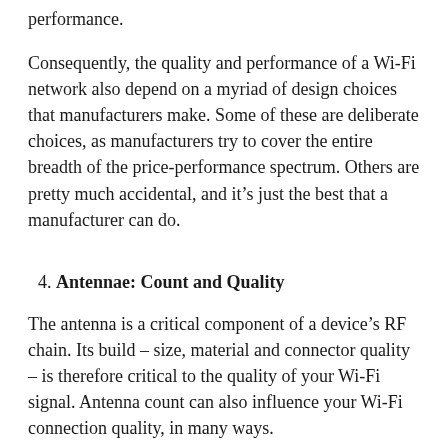performance.
Consequently, the quality and performance of a Wi-Fi network also depend on a myriad of design choices that manufacturers make. Some of these are deliberate choices, as manufacturers try to cover the entire breadth of the price-performance spectrum. Others are pretty much accidental, and it's just the best that a manufacturer can do.
4. Antennae: Count and Quality
The antenna is a critical component of a device's RF chain. Its build – size, material and connector quality – is therefore critical to the quality of your Wi-Fi signal. Antenna count can also influence your Wi-Fi connection quality, in many ways.
Antenna quality tends to be a difficult thing to evaluate. For example, it's important for antennae to be of particular sizes,